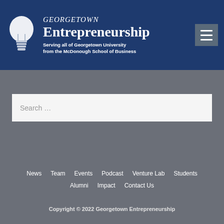[Figure (logo): Georgetown Entrepreneurship logo with light bulb icon, Georgetown italic text, Entrepreneurship in large serif, subtitle 'Serving all of Georgetown University from the McDonough School of Business']
Newsletter
Search …
News  Team  Events  Podcast  Venture Lab  Students  Alumni  Impact  Contact Us
Copyright © 2022 Georgetown Entrepreneurship